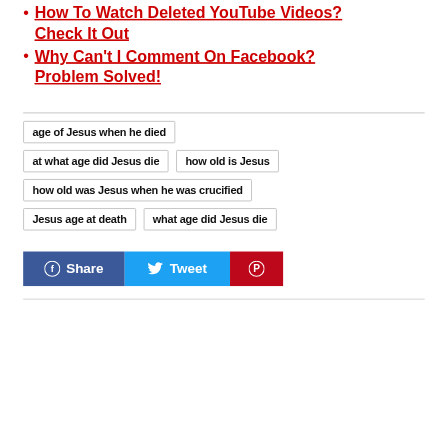How To Watch Deleted YouTube Videos? Check It Out
Why Can't I Comment On Facebook? Problem Solved!
age of Jesus when he died
at what age did Jesus die
how old is Jesus
how old was Jesus when he was crucified
Jesus age at death
what age did Jesus die
[Figure (other): Social share buttons: Facebook Share (blue), Tweet (cyan), Pinterest (red)]